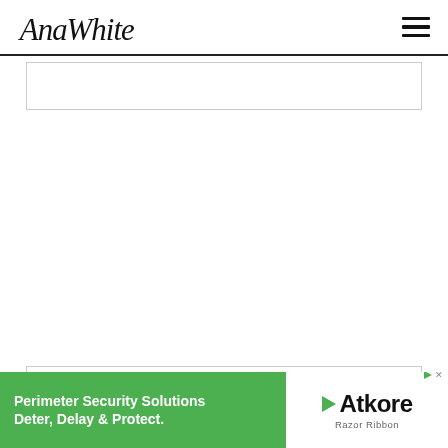AnaWhite
[Figure (other): Empty advertisement placeholder box at top of content area]
Finishing Instructions
Pre...
[Figure (other): Advertisement banner: Perimeter Security Solutions - Deter, Delay & Protect. Atkore Razor Ribbon]